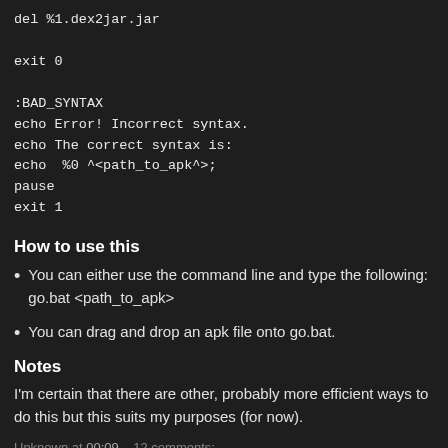del %1.dex2jar.jar

exit 0

:BAD_SYNTAX
echo Error! Incorrect syntax.
echo The correct syntax is:
echo  %0 ^<path_to_apk^>;
pause
exit 1
How to use this
You can either use the command line and type the following: go.bat <path_to_apk>
You can drag and drop an apk file onto go.bat.
Notes
I'm certain that there are other, probably more efficient ways to do this but this suits my purposes (for now).
Unknown at 00:09   12 comments: